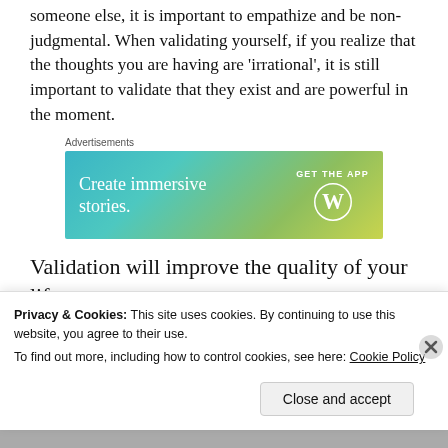someone else, it is important to empathize and be non-judgmental. When validating yourself, if you realize that the thoughts you are having are 'irrational', it is still important to validate that they exist and are powerful in the moment.
[Figure (other): WordPress advertisement banner with gradient background (blue to yellow-green). Text: 'Create immersive stories.' with 'GET THE APP' and WordPress logo on the right.]
Validation will improve the quality of your life
and the lives of others. We care...
Privacy & Cookies: This site uses cookies. By continuing to use this website, you agree to their use.
To find out more, including how to control cookies, see here: Cookie Policy